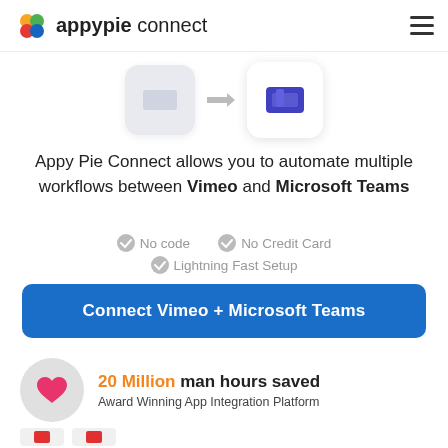appypie connect
[Figure (illustration): App integration icons showing Vimeo and Microsoft Teams logos with an arrow between them]
Appy Pie Connect allows you to automate multiple workflows between Vimeo and Microsoft Teams
No code
No Credit Card
Lightning Fast Setup
Connect Vimeo + Microsoft Teams
[Figure (illustration): Pink heart inside a grey circle]
20 Million man hours saved
Award Winning App Integration Platform